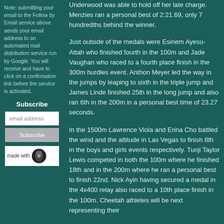Note: submitting your email to the Follow by Email service above sends your email address to an automated mail distribution service run by Google. You will receive and have to click on a confirmation link before the service is activated.
Subscribe
email address
Subscribe
[Figure (other): Made with logo with circular icon]
Underwood was able to hold off her late charge. Menzies ran a personal best of 2:21.69, only 7 hundredths behind the winner.
Just outside of the medals were Esinem Ayesu-Attah who finished fourth in the 100m and Jade Vaughan who raced to a fourth place finish in the 300m hurdles event. Anthon Meyer led the way in the jumps by leaping to sixth in the triple jump and James Linde finished 25th in the long jump and also ran 6th in the 200m in a personal best time of 23.27 seconds.
In the 1500m Lawrence Viola and Erina Cho battled the wind and the altitude in Las Vegas to finish 8th in the boys and girls events respectively. Tunji Taylor Lewis competed in both the 100m where he finished 18th and in the 200m where he ran a personal best to finish 22nd. Nick Ayin having secured a medal in the 4x400 relay also raced to a 10th place finish in the 100m. Cheetah athletes will be next representing their